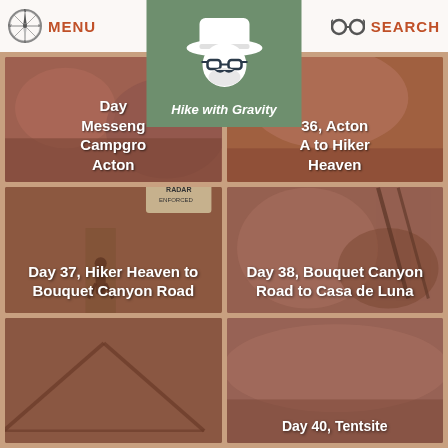MENU | SEARCH
[Figure (logo): Hike with Gravity logo: cartoon figure with hat, beard and sunglasses on green background]
[Figure (photo): Card: Day [36], Messenger Flats Campground, Acton [KOA] to Hiker Heaven - sepia toned hiking photo]
[Figure (photo): Card: Day 36, Acton KOA to Hiker Heaven - sepia toned landscape photo]
[Figure (photo): Card: Day 37, Hiker Heaven to Bouquet Canyon Road - sepia toned road photo with Radar Enforced sign]
[Figure (photo): Card: Day 38, Bouquet Canyon Road to Casa de Luna - sepia toned photo]
[Figure (photo): Card: partial bottom left card]
[Figure (photo): Card: Day 40, Tentsite... (partially visible)]